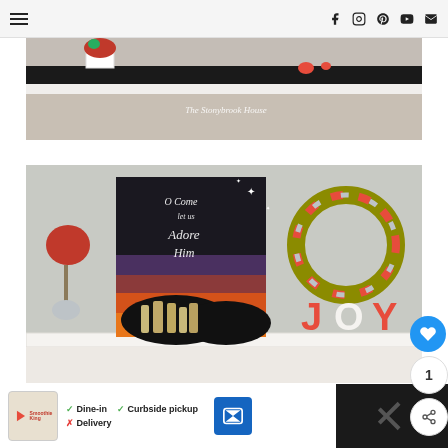Navigation bar with hamburger menu and social icons (Facebook, Instagram, Pinterest, YouTube, Email)
[Figure (photo): Partial photo of a dark console table with red Christmas flowers/poinsettia in white pot, red decorative items, and beige carpet. Watermark reads 'The Stonybrook House'.]
[Figure (photo): Christmas fireplace mantel decoration with a dark canvas painting reading 'O Come let us Adore Him' with nativity silhouette and colorful sunset sky, a red flower topiary in silver vase on left, an ornament wreath in red/gold/silver on right, and large red and white 'JOY' letters on right side.]
[Figure (infographic): Advertisement banner for Smoothie King showing Dine-in (checkmark), Curbside pickup (checkmark), Delivery (X), with navigation icon.]